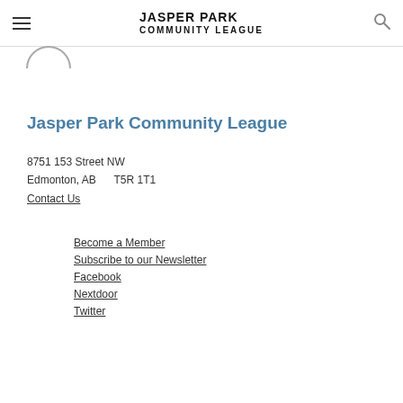JASPER PARK COMMUNITY LEAGUE
[Figure (logo): Partial circular logo arc at top left below header]
Jasper Park Community League
8751 153 Street NW
Edmonton, AB     T5R 1T1
Contact Us
Become a Member
Subscribe to our Newsletter
Facebook
Nextdoor
Twitter